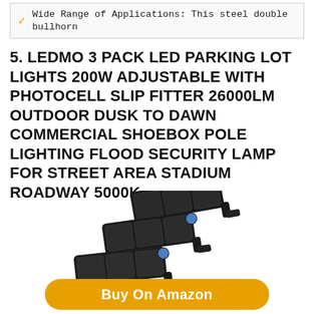✓ Wide Range of Applications: This steel double bullhorn
5. LEDMO 3 PACK LED PARKING LOT LIGHTS 200W ADJUSTABLE WITH PHOTOCELL SLIP FITTER 26000LM OUTDOOR DUSK TO DAWN COMMERCIAL SHOEBOX POLE LIGHTING FLOOD SECURITY LAMP FOR STREET AREA STADIUM ROADWAY 5000K
[Figure (photo): Three stacked LED shoebox parking lot lights with blue photocell sensors and mounting brackets, shown in dark/black finish]
Buy On Amazon